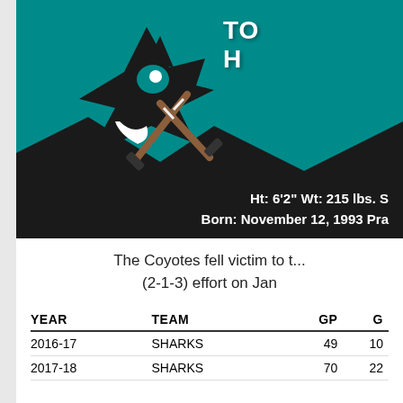[Figure (logo): San Jose Sharks NHL team logo — black shark biting a hockey stick, teal and black colors]
TO... H...
Ht: 6'2" Wt: 215 lbs. S... Born: November 12, 1993 Pra...
The Coyotes fell victim to ... (2-1-3) effort on Jan...
| YEAR | TEAM | GP | G |
| --- | --- | --- | --- |
| 2016-17 | SHARKS | 49 | 10 |
| 2017-18 | SHARKS | 70 | 22 |